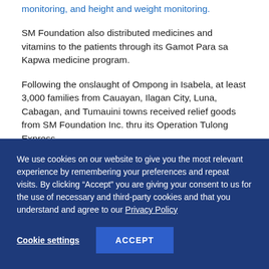monitoring, and height and weight monitoring.
SM Foundation also distributed medicines and vitamins to the patients through its Gamot Para sa Kapwa medicine program.
Following the onslaught of Ompong in Isabela, at least 3,000 families from Cauayan, Ilagan City, Luna, Cabagan, and Tumauini towns received relief goods from SM Foundation Inc. thru its Operation Tulong Express.
We use cookies on our website to give you the most relevant experience by remembering your preferences and repeat visits. By clicking “Accept” you are giving your consent to us for the use of necessary and third-party cookies and that you understand and agree to our Privacy Policy
Cookie settings
ACCEPT